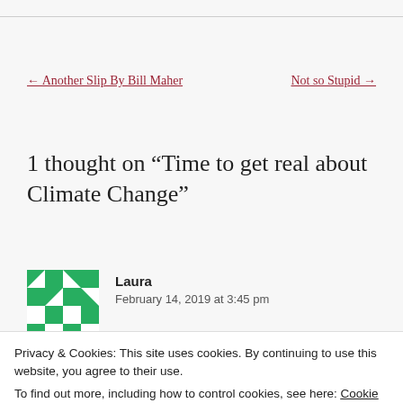← Another Slip By Bill Maher
Not so Stupid →
1 thought on “Time to get real about Climate Change”
[Figure (illustration): Green and white pixel/mosaic avatar icon]
Laura
February 14, 2019 at 3:45 pm
Privacy & Cookies: This site uses cookies. By continuing to use this website, you agree to their use.
To find out more, including how to control cookies, see here: Cookie Policy